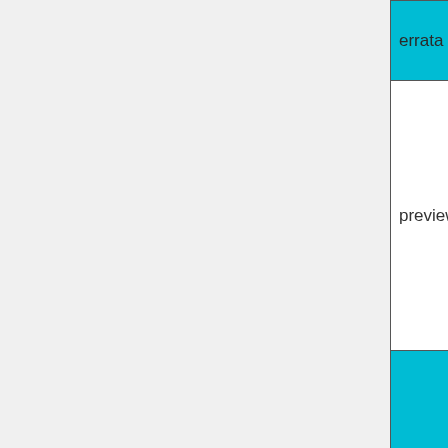| Name | Type | Description |
| --- | --- | --- |
| errata | textarea | The t errat... |
| preview | imagetype | An in show previ them appe... |
| downloadprogressbar | progressbar | A pro show dow prog remo bein dow... |
|  |  | A sta repr whet upda avail... |